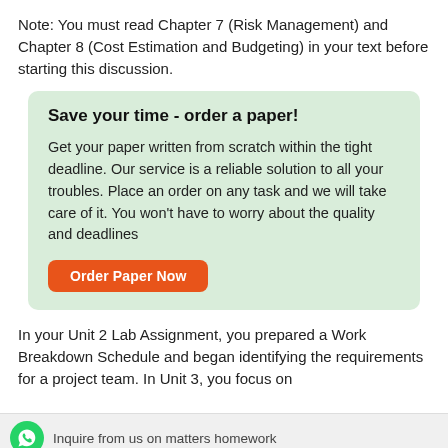Note: You must read Chapter 7 (Risk Management) and Chapter 8 (Cost Estimation and Budgeting) in your text before starting this discussion.
Save your time - order a paper!
Get your paper written from scratch within the tight deadline. Our service is a reliable solution to all your troubles. Place an order on any task and we will take care of it. You won't have to worry about the quality and deadlines
Order Paper Now
In your Unit 2 Lab Assignment, you prepared a Work Breakdown Schedule and began identifying the requirements for a project team. In Unit 3, you focus on
Inquire from us on matters homework
sitive or negative